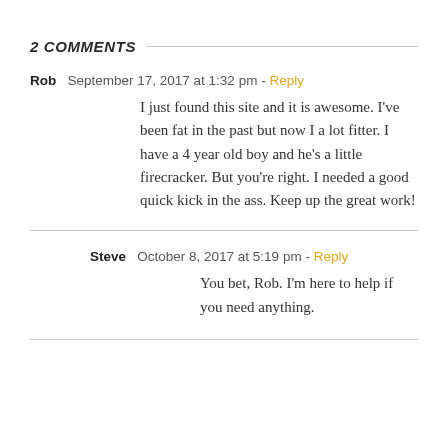2 COMMENTS
Rob  September 17, 2017 at 1:32 pm - Reply
I just found this site and it is awesome. I've been fat in the past but now I a lot fitter. I have a 4 year old boy and he's a little firecracker. But you're right. I needed a good quick kick in the ass. Keep up the great work!
Steve  October 8, 2017 at 5:19 pm - Reply
You bet, Rob. I'm here to help if you need anything.